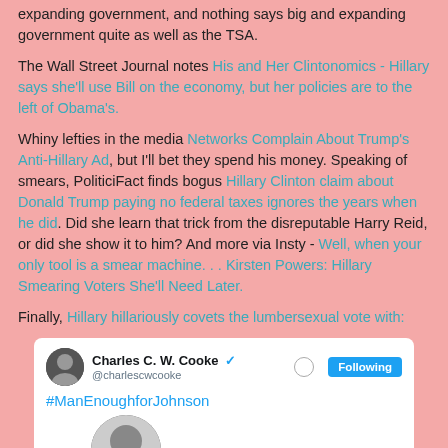expanding government, and nothing says big and expanding government quite as well as the TSA.
The Wall Street Journal notes His and Her Clintonomics - Hillary says she'll use Bill on the economy, but her policies are to the left of Obama's.
Whiny lefties in the media Networks Complain About Trump's Anti-Hillary Ad, but I'll bet they spend his money. Speaking of smears, PoliticiFact finds bogus Hillary Clinton claim about Donald Trump paying no federal taxes ignores the years when he did. Did she learn that trick from the disreputable Harry Reid, or did she show it to him? And more via Insty - Well, when your only tool is a smear machine. . . Kirsten Powers: Hillary Smearing Voters She'll Need Later.
Finally, Hillary hillariously covets the lumbersexual vote with:
[Figure (screenshot): Screenshot of a tweet by Charles C. W. Cooke with verified badge and Following button, showing hashtag #ManEnoughforJohnson and an image with text 'I'M' and a circular portrait photo]